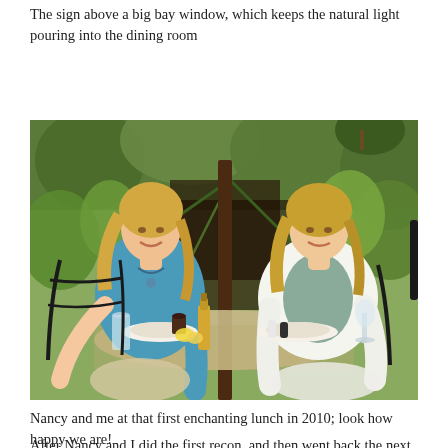The sign above a big bay window, which keeps the natural light pouring into the dining room
[Figure (photo): Two women sitting at an outdoor restaurant table with food and drinks, surrounded by tropical plants and greenery. One woman wears a blue tank top, the other a white jacket over a floral top.]
Nancy and me at that first enchanting lunch in 2010; look how happy we are!
After Nancy and I did the first recon, and then went back the next